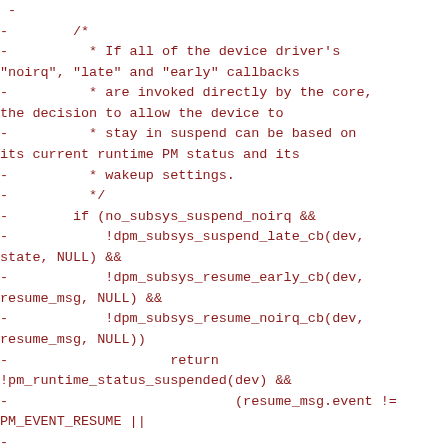-
-        /*
-          * If all of the device driver's "noirq", "late" and "early" callbacks
-          * are invoked directly by the core, the decision to allow the device to
-          * stay in suspend can be based on its current runtime PM status and its
-          * wakeup settings.
-          */
-        if (no_subsys_suspend_noirq &&
-            !dpm_subsys_suspend_late_cb(dev, state, NULL) &&
-            !dpm_subsys_resume_early_cb(dev, resume_msg, NULL) &&
-            !dpm_subsys_resume_noirq_cb(dev, resume_msg, NULL))
-                    return !pm_runtime_status_suspended(dev) &&
-                            (resume_msg.event != PM_EVENT_RESUME ||
-
(device_can_wakeup(dev) && !device_may_wakeup(dev)));
-
-        /*
-          * The only safe strategy here is to require that if the device may not
-          * be left in suspend, resume callbacks must be invoked for it.